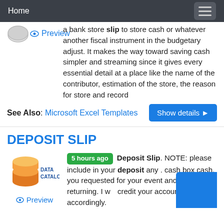Home
a bank store slip to store cash or whatever another fiscal instrument in the budgetary adjust. It makes the way toward saving cash simpler and streaming since it gives every essential detail at a place like the name of the contributor, estimation of the store, the reason for store and record
See Also: Microsoft Excel Templates
DEPOSIT SLIP
[Figure (logo): Data Catalog logo with orange and blue stacked cylinders]
5 hours ago Deposit Slip. NOTE: please include in your deposit any . cash box cash. you requested for your event and are returning. I will credit your account accordingly.